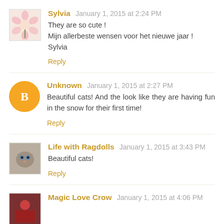Sylvia January 1, 2015 at 2:24 PM
They are so cute !
Mijn allerbeste wensen voor het nieuwe jaar !
Sylvia
Reply
Unknown January 1, 2015 at 2:27 PM
Beautiful cats! And the look like they are having fun in the snow for their first time!
Reply
Life with Ragdolls January 1, 2015 at 3:43 PM
Beautiful cats!
Reply
Magic Love Crow January 1, 2015 at 4:06 PM